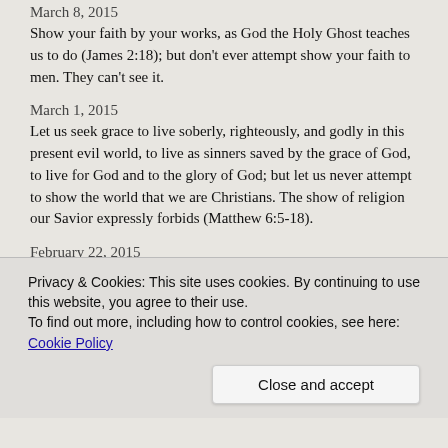March 8, 2015
Show your faith by your works, as God the Holy Ghost teaches us to do (James 2:18); but don't ever attempt show your faith to men. They can't see it.
March 1, 2015
Let us seek grace to live soberly, righteously, and godly in this present evil world, to live as sinners saved by the grace of God, to live for God and to the glory of God; but let us never attempt to show the world that we are Christians. The show of religion our Savior expressly forbids (Matthew 6:5-18).
February 22, 2015
God declares things to be what they are manifestly made to be before he makes them to be what he makes them to be (Romans 4:17).
February 8, 2015
Privacy & Cookies: This site uses cookies. By continuing to use this website, you agree to their use.
To find out more, including how to control cookies, see here: Cookie Policy
Close and accept